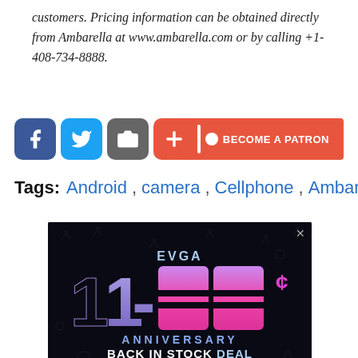customers. Pricing information can be obtained directly from Ambarella at www.ambarella.com or by calling +1-408-734-8888.
[Figure (other): Social sharing buttons: Facebook (blue), Twitter (blue), a camera/share icon (grey), and a plus/add button (red-orange)]
[Figure (other): Patreon button: red-orange background with vertical bar, circle, and text BECOME A PATRON]
Tags: Android , camera , Cellphone , Ambarella
[Figure (advertisement): EVGA 1-23rd Anniversary Back in Stock Deal advertisement featuring Nvidia GeForce RTX branding on a dark background with stylized purple and pink numerals.]